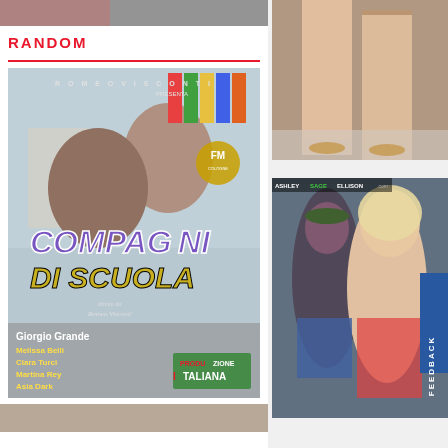[Figure (photo): Top strip image, partially visible]
RANDOM
[Figure (photo): Movie cover: Compagni Di Scuola, Romeo Visconti presenta. Cast: Giorgio Grande, Melissa Belli, Ciara Turci, Martina Rey, Asia Dark. Produzione Italiana.]
[Figure (photo): Bottom strip image, partially visible]
[Figure (photo): Right column top: legs photo]
[Figure (photo): Right column bottom: AshleySageEllison.com two women photo with FEEDBACK tab]